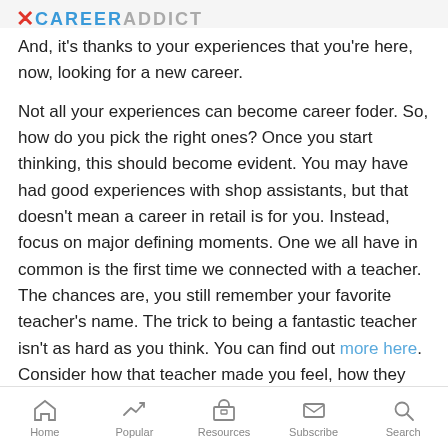CAREER ADDICT
And, it's thanks to your experiences that you're here, now, looking for a new career.
Not all your experiences can become career foder. So, how do you pick the right ones? Once you start thinking, this should become evident. You may have had good experiences with shop assistants, but that doesn't mean a career in retail is for you. Instead, focus on major defining moments. One we all have in common is the first time we connected with a teacher. The chances are, you still remember your favorite teacher's name. The trick to being a fantastic teacher isn't as hard as you think. You can find out more here. Consider how that teacher made you feel, how they inspired you. Do you have a desire to do the same?
Home  Popular  Resources  Subscribe  Search